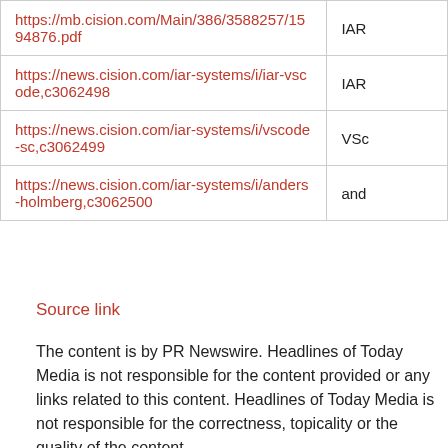| URL | Label |
| --- | --- |
| https://mb.cision.com/Main/386/3588257/1594876.pdf | IAR |
| https://news.cision.com/iar-systems/i/iar-vscode,c3062498 | IAR |
| https://news.cision.com/iar-systems/i/vscode-sc,c3062499 | VSc |
| https://news.cision.com/iar-systems/i/anders-holmberg,c3062500 | and |
Source link
The content is by PR Newswire. Headlines of Today Media is not responsible for the content provided or any links related to this content. Headlines of Today Media is not responsible for the correctness, topicality or the quality of the content.